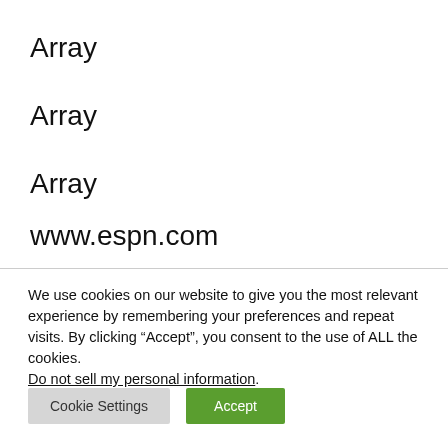Array
Array
Array
www.espn.com
We use cookies on our website to give you the most relevant experience by remembering your preferences and repeat visits. By clicking “Accept”, you consent to the use of ALL the cookies. Do not sell my personal information.